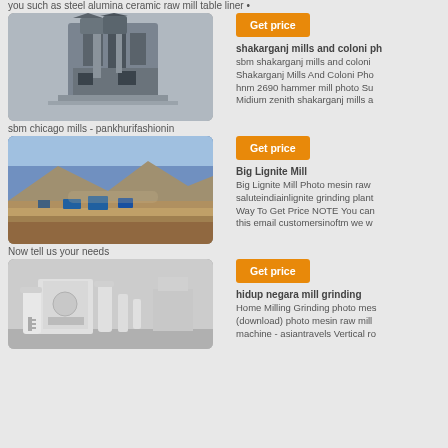you such as steel alumina ceramic raw mill table liner •
[Figure (photo): Industrial milling/grinding machine equipment, gray structure on light background]
[Figure (other): Get price orange button]
shakarganj mills and coloni ph
sbm shakarganj mills and coloni Shakarganj Mills And Coloni Pho hnm 2690 hammer mill photo Su Midium zenith shakarganj mills a
sbm chicago mills - pankhurifashionin
[Figure (photo): Open pit mining landscape with machinery, mountains and blue sky]
[Figure (other): Get price orange button]
Big Lignite Mill
Big Lignite Mill Photo mesin raw saluteindiainlignite grinding plant Way To Get Price NOTE You can this email customersinoftm we w
Now tell us your needs
[Figure (photo): White industrial grinding/milling plant with pipes and machinery indoors]
[Figure (other): Get price orange button]
hidup negara mill grinding
Home Milling Grinding photo mes (download) photo mesin raw mill machine - asiantravels Vertical ro